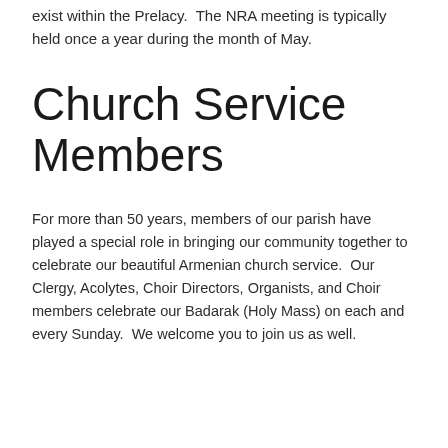exist within the Prelacy.  The NRA meeting is typically held once a year during the month of May.
Church Service Members
For more than 50 years, members of our parish have played a special role in bringing our community together to celebrate our beautiful Armenian church service.  Our Clergy, Acolytes, Choir Directors, Organists, and Choir members celebrate our Badarak (Holy Mass) on each and every Sunday.  We welcome you to join us as well.